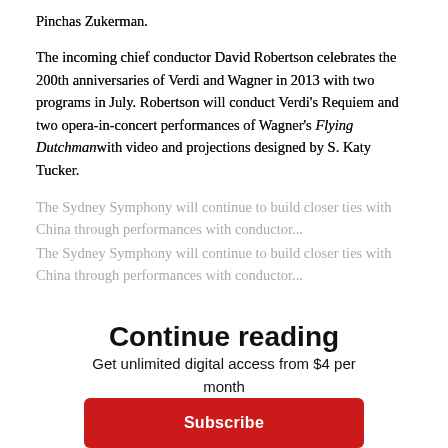Pinchas Zukerman.
The incoming chief conductor David Robertson celebrates the 200th anniversaries of Verdi and Wagner in 2013 with two programs in July. Robertson will conduct Verdi's Requiem and two opera-in-concert performances of Wagner's Flying Dutchman with video and projections designed by S. Katy Tucker.
The Sydney Symphony will continue to build closer ties with China through performances with conductor...
Continue reading
Get unlimited digital access from $4 per month
Subscribe